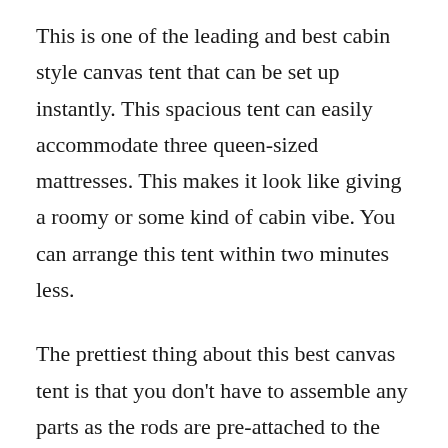This is one of the leading and best cabin style canvas tent that can be set up instantly. This spacious tent can easily accommodate three queen-sized mattresses. This makes it look like giving a roomy or some kind of cabin vibe. You can arrange this tent within two minutes less.
The prettiest thing about this best canvas tent is that you don't have to assemble any parts as the rods are pre-attached to the tent, which makes it further easy and consumes less effort and time to set up. So, the only labor you must